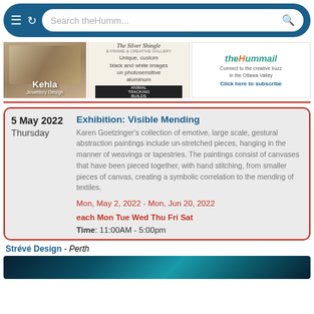Search theHumm...
[Figure (photo): Kehla Jewellery Design advertisement with gold rings]
[Figure (photo): The Silver Shingle advertisement - Unique, custom black and white images on photosensitive aluminum]
[Figure (photo): theHummail advertisement - Connect to the creative buzz in the Ottawa Valley. Click here to subscribe]
5 May 2022
Thursday
Exhibition: Visible Mending
Karen Goetzinger's collection of emotive, large scale, gestural abstraction paintings include un-stretched pieces, hanging in the manner of weavings or tapestries. The paintings consist of canvases that have been pieced together, with hand stitching, from smaller pieces of canvas, creating a symbolic correlation to the mending of textiles.
Mon, May 2, 2022 - Mon, Jun 20, 2022
each Mon Tue Wed Thu Fri Sat
Time: 11:00AM - 5:00pm
Strévé Design - Perth
[Figure (photo): Dark blue/teal abstract image at bottom of page]